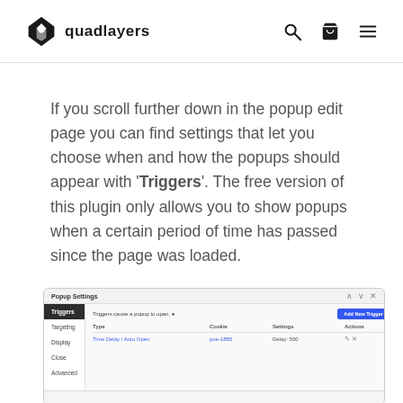quadlayers
If you scroll further down in the popup edit page you can find settings that let you choose when and how the popups should appear with 'Triggers'. The free version of this plugin only allows you to show popups when a certain period of time has passed since the page was loaded.
[Figure (screenshot): Screenshot of Popup Settings panel showing Triggers tab selected, with a table listing Type, Cookie, Settings, Actions columns and a row 'Time Delay / Auto Open' with cookie 'pue-1885', Settings 'Delay: 500', and action icons.]